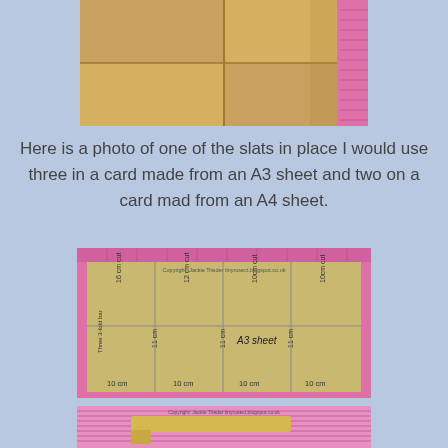[Figure (photo): Photo of the top of a cardboard box with a pink ruler on the right side]
Here is a photo of one of the slats in place I would use three in a card made from an A3 sheet and two on a card mad from an A4 sheet.
[Figure (photo): Photo of cardboard sheet cut into sections on a pink surface with measurements labeled: 16cm cut, 12cm cut, 10cm cut, 10cm cut across top, and 10cm, 11cm, 11cm, 11cm heights, with 'A3 sheet' written in center. Copyright: Jackie Trieder tinyrosect.blogspot.co.uk]
[Figure (photo): Photo of a cardboard slat/strip bent into an L-shape on a pink striped surface. Copyright: Jackie Trieder tinyrosect.blogspot.co.uk]